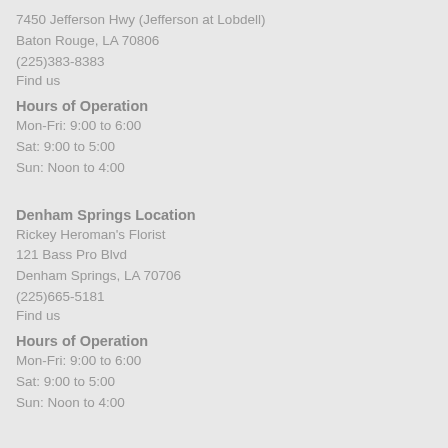7450 Jefferson Hwy (Jefferson at Lobdell)
Baton Rouge, LA 70806
(225)383-8383
Find us
Hours of Operation
Mon-Fri: 9:00 to 6:00
Sat: 9:00 to 5:00
Sun: Noon to 4:00
Denham Springs Location
Rickey Heroman's Florist
121 Bass Pro Blvd
Denham Springs, LA 70706
(225)665-5181
Find us
Hours of Operation
Mon-Fri: 9:00 to 6:00
Sat: 9:00 to 5:00
Sun: Noon to 4:00